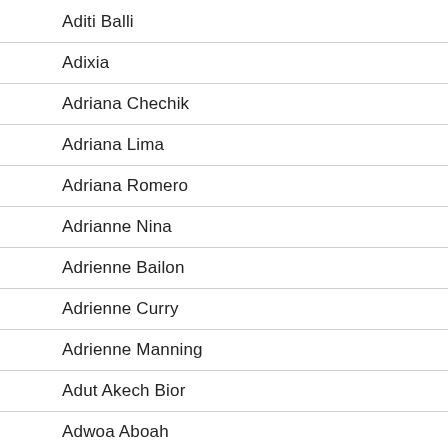Aditi Balli
Adixia
Adriana Chechik
Adriana Lima
Adriana Romero
Adrianne Nina
Adrienne Bailon
Adrienne Curry
Adrienne Manning
Adut Akech Bior
Adwoa Aboah